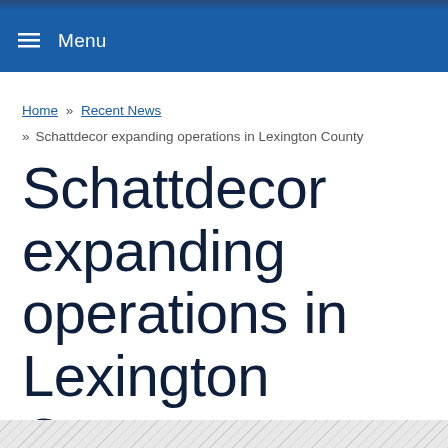≡ Menu
Home » Recent News » Schattdecor expanding operations in Lexington County
Schattdecor expanding operations in Lexington County